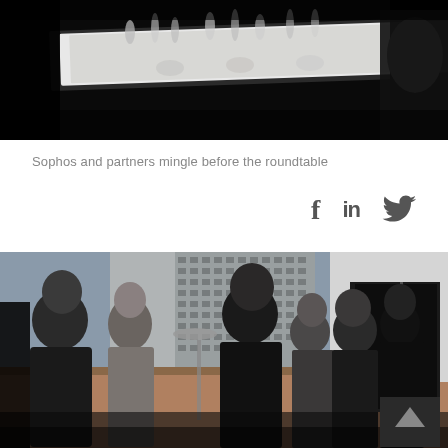[Figure (photo): Top photo showing a dark restaurant/event dining table set with glassware and tableware, viewed from one end in near-silhouette lighting]
Sophos and partners mingle before the roundtable
[Figure (infographic): Social media icons: Facebook (f), LinkedIn (in), Twitter (bird)]
[Figure (photo): Outdoor rooftop terrace event photo showing multiple groups of men in business suits mingling, with patio heaters visible, city buildings in background, and a doorway to an interior space on the right]